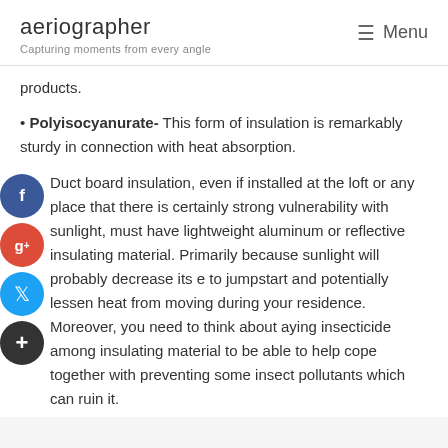aeriographer
Capturing moments from every angle
products.
Polyisocyanurate- This form of insulation is remarkably sturdy in connection with heat absorption.
Duct board insulation, even if installed at the loft or any place that there is certainly strong vulnerability with sunlight, must have lightweight aluminum or reflective insulating material. Primarily because sunlight will probably decrease its e to jumpstart and potentially lessen heat from moving during your residence. Moreover, you need to think about aying insecticide among insulating material to be able to help cope together with preventing some insect pollutants which can ruin it.